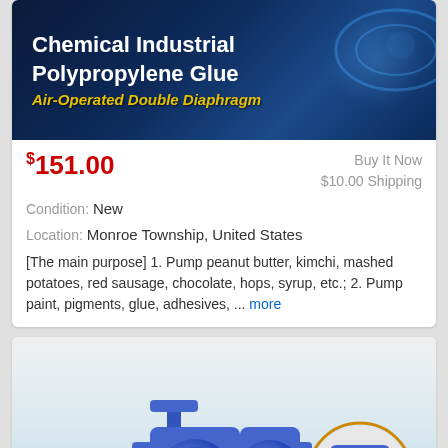[Figure (photo): Product listing image for Chemical Industrial Polypropylene Glue Air-Operated Double Diaphragm pump on dark blue background]
$151.00
Buy It Now
$10.00 Shipping
Condition: New
Location: Monroe Township, United States
[The main purpose] 1. Pump peanut butter, kimchi, mashed potatoes, red sausage, chocolate, hops, syrup, etc.; 2. Pump paint, pigments, glue, adhesives, ... more
[Figure (photo): Air-Operated Cast Iron Diaphragm Pomp product image showing blue cast iron double diaphragm pump with circular inset showing detail of the pump connection. Red bold title text at top reads AIR-OPERATED CAST IRON DIAPHRAGM POMP. Bottom text reads Air-Operated Double.]